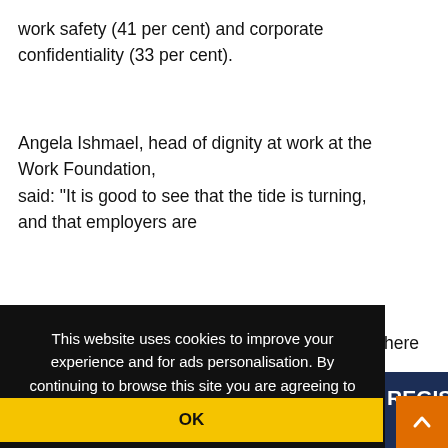work safety (41 per cent) and corporate confidentiality (33 per cent).
Angela Ishmael, head of dignity at work at the Work Foundation, said: "It is good to see that the tide is turning, and that employers are
here
This website uses cookies to improve your experience and for ads personalisation. By continuing to browse this site you are agreeing to our use of these cookies. You can learn more about the cookies we use here.
OK
REGIS